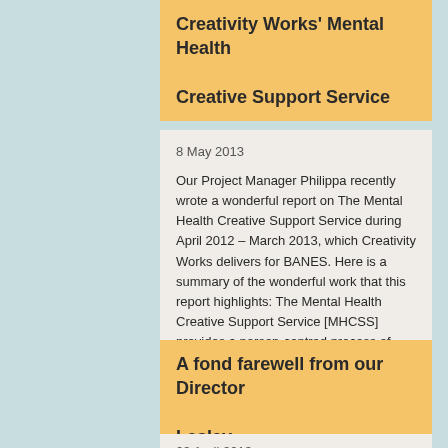Creativity Works' Mental Health Creative Support Service
8 May 2013
Our Project Manager Philippa recently wrote a wonderful report on The Mental Health Creative Support Service during April 2012 – March 2013, which Creativity Works delivers for BANES. Here is a summary of the wonderful work that this report highlights: The Mental Health Creative Support Service [MHCSS] provides a person-centred process of engagement and progression, [...]
Read More ›
A fond farewell from our Director Lesley
29 April 2013